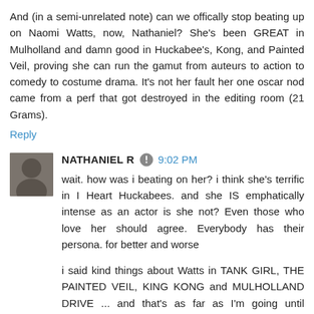And (in a semi-unrelated note) can we offically stop beating up on Naomi Watts, now, Nathaniel? She's been GREAT in Mulholland and damn good in Huckabee's, Kong, and Painted Veil, proving she can run the gamut from auteurs to action to comedy to costume drama. It's not her fault her one oscar nod came from a perf that got destroyed in the editing room (21 Grams).
Reply
NATHANIEL R  9:02 PM
wait. how was i beating on her? i think she's terrific in I Heart Huckabees. and she IS emphatically intense as an actor is she not? Even those who love her should agree. Everybody has their persona. for better and worse
i said kind things about Watts in TANK GIRL, THE PAINTED VEIL, KING KONG and MULHOLLAND DRIVE ... and that's as far as I'm going until EASTERN PROMISES opens, ya hear ? ;)
Reply